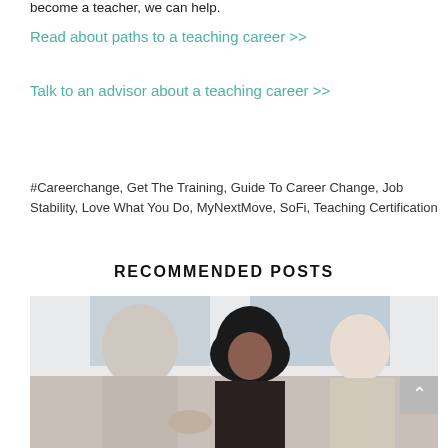become a teacher, we can help.
Read about paths to a teaching career >>
Talk to an advisor about a teaching career >>
#Careerchange, Get The Training, Guide To Career Change, Job Stability, Love What You Do, MyNextMove, SoFi, Teaching Certification
RECOMMENDED POSTS
[Figure (photo): Three people seated together appearing to collaborate or review documents; one person facing away, one woman with curly dark hair in center, one woman on the right]